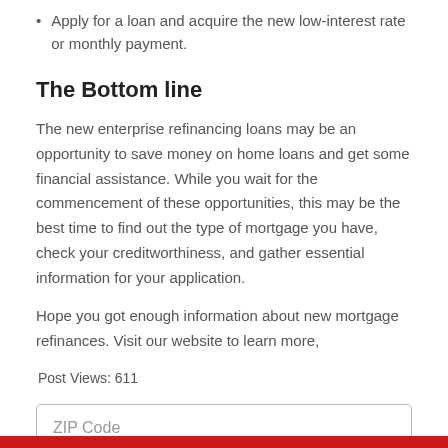Apply for a loan and acquire the new low-interest rate or monthly payment.
The Bottom line
The new enterprise refinancing loans may be an opportunity to save money on home loans and get some financial assistance. While you wait for the commencement of these opportunities, this may be the best time to find out the type of mortgage you have, check your creditworthiness, and gather essential information for your application.
Hope you got enough information about new mortgage refinances. Visit our website to learn more,
Post Views: 611
[Figure (other): ZIP Code input field (form element)]
[Figure (other): Red submit/action button bar at the bottom]